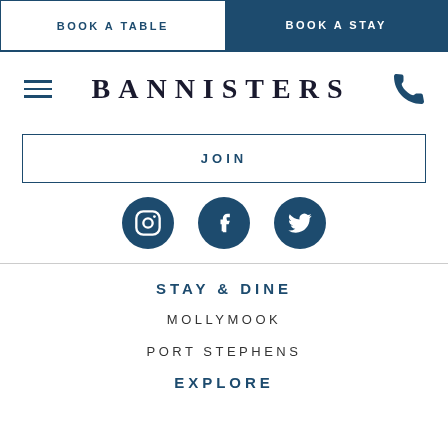BOOK A TABLE  |  BOOK A STAY
BANNISTERS
JOIN
[Figure (illustration): Three social media icons: Instagram, Facebook, and Twitter, each in a dark teal circle.]
STAY & DINE
MOLLYMOOK
PORT STEPHENS
EXPLORE